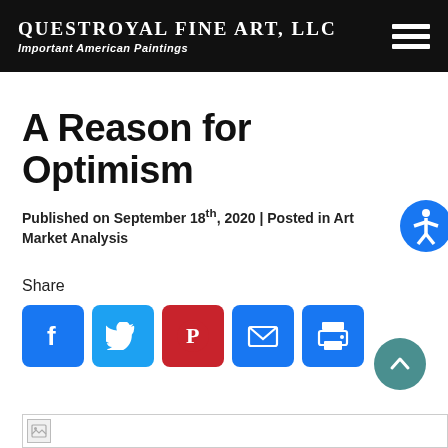QUESTROYAL FINE ART, LLC — Important American Paintings
A Reason for Optimism
Published on September 18th, 2020 | Posted in Art Market Analysis
Share
[Figure (infographic): Social share buttons: Facebook, Twitter, Pinterest, Email, Print]
[Figure (other): Broken/loading image placeholder at bottom of page]